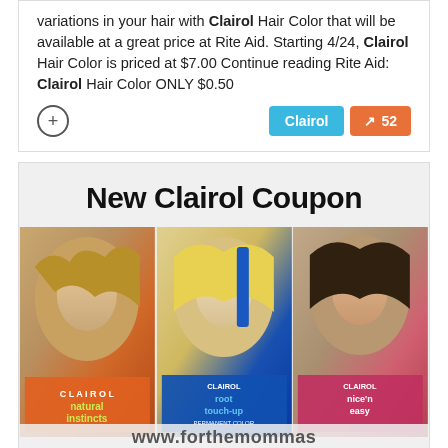variations in your hair with Clairol Hair Color that will be available at a great price at Rite Aid. Starting 4/24, Clairol Hair Color is priced at $7.00 Continue reading Rite Aid: Clairol Hair Color ONLY $0.50
[Figure (photo): Promotional image showing three Clairol hair color product boxes (Natural Instincts, Root Touch-Up, Nice'n Easy) on a light gray background with the heading 'New Clairol Coupon' and watermark 'www.forthemommas']